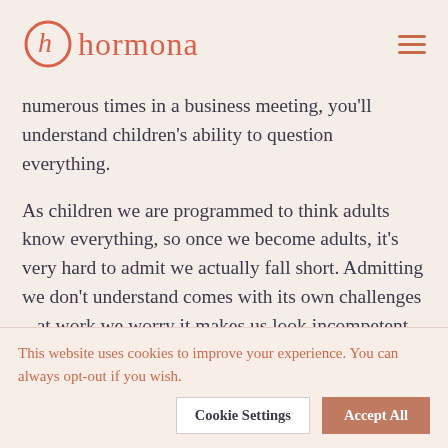hormona
numerous times in a business meeting, you'll understand children's ability to question everything.
As children we are programmed to think adults know everything, so once we become adults, it's very hard to admit we actually fall short. Admitting we don't understand comes with its own challenges – at work we worry it makes us look incompetent and our personal lives don't
This website uses cookies to improve your experience. You can always opt-out if you wish.